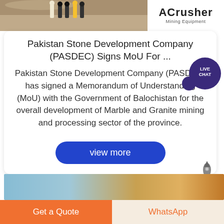[Figure (photo): Mining site photo on left, ACrusher Mining Equipment logo on right]
Pakistan Stone Development Company (PASDEC) Signs MoU For ...
Pakistan Stone Development Company (PASDEC) has signed a Memorandum of Understanding (MoU) with the Government of Balochistan for the overall development of Marble and Granite mining and processing sector of the province.
view more
[Figure (photo): Mining equipment thumbnail image at bottom]
Get a Quote
WhatsApp